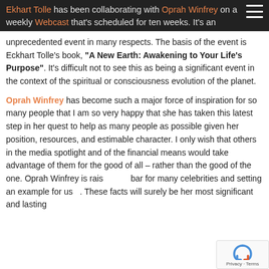Ekhart Tolle has been collaborating with Oprah Winfrey on a weekly Webcast that's scheduled for ten weeks. It's an
unprecedented event in many respects. The basis of the event is Eckhart Tolle's book, "A New Earth: Awakening to Your Life's Purpose". It's difficult not to see this as being a significant event in the context of the spiritual or consciousness evolution of the planet.
Oprah Winfrey has become such a major force of inspiration for so many people that I am so very happy that she has taken this latest step in her quest to help as many people as possible given her position, resources, and estimable character. I only wish that others in the media spotlight and of the financial means would take advantage of them for the good of all – rather than the good of the one. Oprah Winfrey is rais[ing the] bar for many celebrities and setting an example for us[...]. These facts will surely be her most significant and lasting